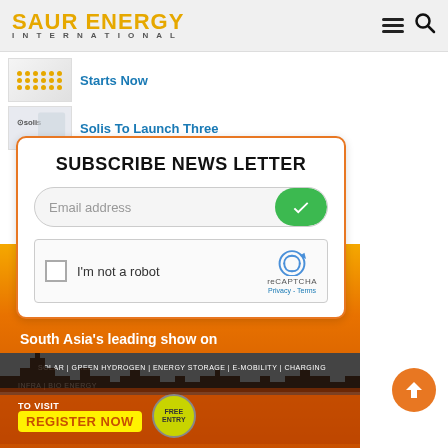SAUR ENERGY INTERNATIONAL
[Figure (screenshot): News thumbnail with dots pattern for article starting 'Starts Now']
Starts Now
[Figure (logo): Solis logo thumbnail for article 'Solis To Launch Three']
Solis To Launch Three
[Figure (screenshot): Subscribe News Letter popup with email input field, green checkmark submit button, and reCAPTCHA 'I'm not a robot' checkbox]
SUBSCRIBE NEWS LETTER
Email address
I'm not a robot
reCAPTCHA
Privacy - Terms
[Figure (infographic): Advertisement banner for 28-30 September 2022, India Expo Centre Greater Noida. 15 Years of Togetherness. South Asia's leading show on Solar, Green Hydrogen, Energy Storage, E-Mobility, Charging Infra, Bio Energy. To Visit Register Now Free Entry.]